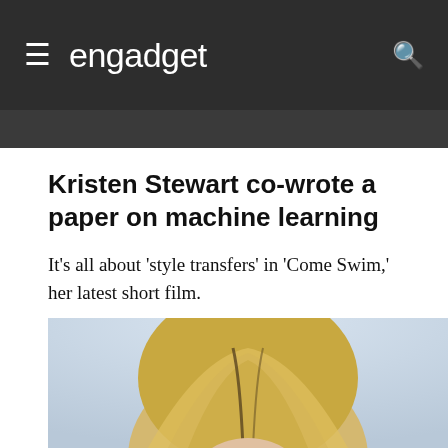engadget
Kristen Stewart co-wrote a paper on machine learning
It's all about 'style transfers' in 'Come Swim,' her latest short film.
N. Summers
01.20.17
[Figure (photo): Top portion of a person's head with blonde upswept hair against a light blue/grey background]